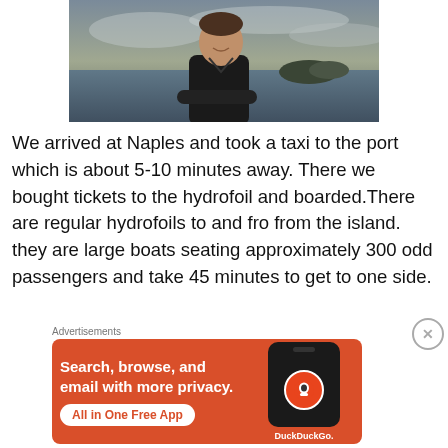[Figure (photo): A man smiling, seated outdoors with a scenic coastal/water background under a cloudy sky]
We arrived at Naples and took a taxi to the port which is about 5-10 minutes away. There we bought tickets to the hydrofoil and boarded.There are regular hydrofoils to and fro from the island. they are large boats seating approximately 300 odd passengers and take 45 minutes to get to one side.
Advertisements
[Figure (screenshot): DuckDuckGo advertisement: Search, browse, and email with more privacy. All in One Free App. DuckDuckGo logo on a phone mockup, orange background.]